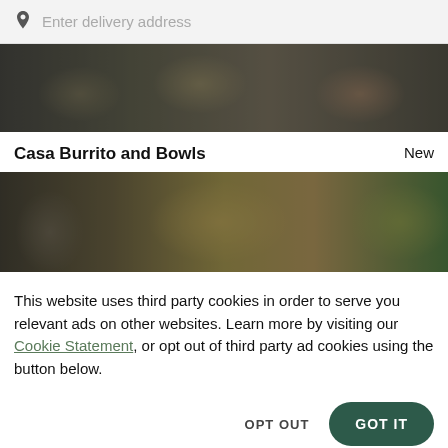[Figure (screenshot): Search bar with pin/location icon and placeholder text 'Enter delivery address' on a light grey background]
[Figure (photo): Dark-tinted overhead photo of food dishes on a table, partially visible]
Casa Burrito and Bowls
New
[Figure (photo): Dark-tinted overhead photo of pasta and food dishes on plates]
This website uses third party cookies in order to serve you relevant ads on other websites. Learn more by visiting our Cookie Statement, or opt out of third party ad cookies using the button below.
OPT OUT
GOT IT